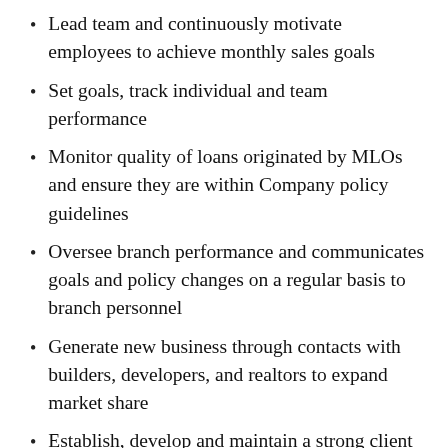Lead team and continuously motivate employees to achieve monthly sales goals
Set goals, track individual and team performance
Monitor quality of loans originated by MLOs and ensure they are within Company policy guidelines
Oversee branch performance and communicates goals and policy changes on a regular basis to branch personnel
Generate new business through contacts with builders, developers, and realtors to expand market share
Establish, develop and maintain a strong client referral base by selling the Company's products and services to meet the needs of its client base in